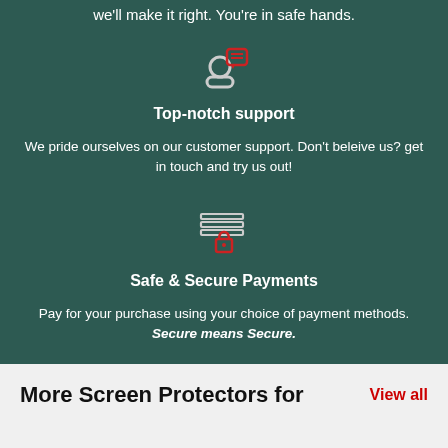we'll make it right. You're in safe hands.
[Figure (illustration): Customer support icon: person silhouette with a red speech bubble]
Top-notch support
We pride ourselves on our customer support. Don't beleive us? get in touch and try us out!
[Figure (illustration): Secure payment icon: card/lines icon with a red padlock]
Safe & Secure Payments
Pay for your purchase using your choice of payment methods. Secure means Secure.
More Screen Protectors for
View all